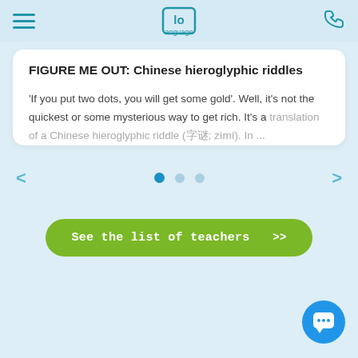Language (logo)
FIGURE ME OUT: Chinese hieroglyphic riddles
'If you put two dots, you will get some gold'. Well, it's not the quickest or some mysterious way to get rich. It's a translation of a Chinese hieroglyphic riddle (字谜; zìmí).  In ...
[Figure (other): Carousel navigation: left arrow, three pagination dots (first active), right arrow]
[Figure (other): Green rounded button: See the list of teachers >>]
[Figure (other): Blue circular chat bubble button with ellipsis icon in bottom right corner]